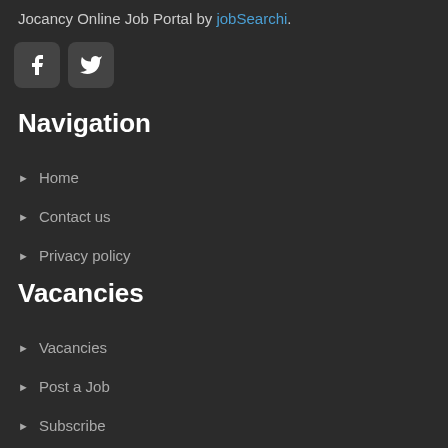Jocancy Online Job Portal by jobSearchi.
[Figure (illustration): Facebook and Twitter social media icons in rounded square boxes]
Navigation
Home
Contact us
Privacy policy
Vacancies
Vacancies
Post a Job
Subscribe